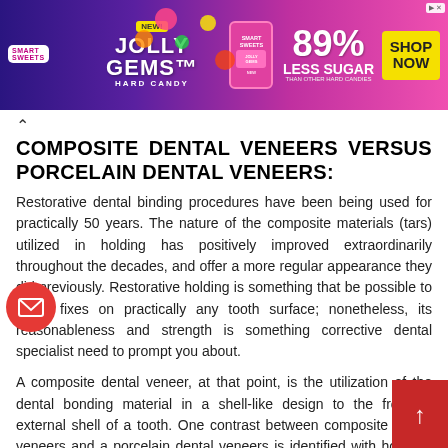[Figure (illustration): Smart Sweets Jolly Gems Hard Candy advertisement banner. Features colorful candy imagery, '89% Less Sugar than other hard candies' claim, and 'SHOP NOW' call-to-action button on yellow background.]
COMPOSITE DENTAL VENEERS VERSUS PORCELAIN DENTAL VENEERS:
Restorative dental binding procedures have been being used for practically 50 years. The nature of the composite materials (tars) utilized in holding has positively improved extraordinarily throughout the decades, and offer a more regular appearance they did previously. Restorative holding is something that be possible to make fixes on practically any tooth surface; nonetheless, its reasonableness and strength is something corrective dental specialist need to prompt you about.
A composite dental veneer, at that point, is the utilization of the dental bonding material in a shell-like design to the front or external shell of a tooth. One contrast between composite dental veneers and a porcelain dental veneers is identified with how the light hits the outside of each. Composite dental bonding gums have improved extraordinarily in ongoing decades and come in a wide range of colors; though, the pitches utilized are mistier than